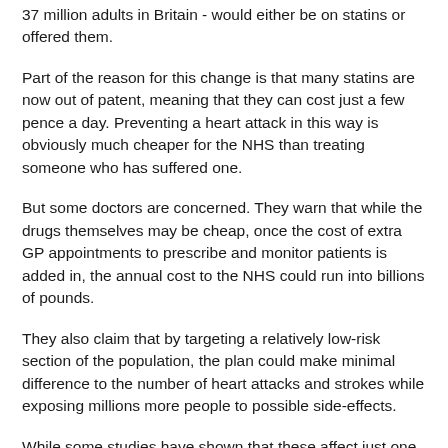37 million adults in Britain - would either be on statins or offered them.
Part of the reason for this change is that many statins are now out of patent, meaning that they can cost just a few pence a day. Preventing a heart attack in this way is obviously much cheaper for the NHS than treating someone who has suffered one.
But some doctors are concerned. They warn that while the drugs themselves may be cheap, once the cost of extra GP appointments to prescribe and monitor patients is added in, the annual cost to the NHS could run into billions of pounds.
They also claim that by targeting a relatively low-risk section of the population, the plan could make minimal difference to the number of heart attacks and strokes while exposing millions more people to possible side-effects.
While some studies have shown that these affect just one in 10,000, some doctors and academics believe the problems they cause are much more widespread.